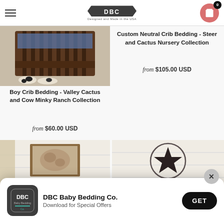DBC Baby Bedding Co. - Designed and Made in the USA
[Figure (photo): Boy Crib Bedding product photo showing dark wood crib with cow print and cactus fabric]
Boy Crib Bedding - Valley Cactus and Cow Minky Ranch Collection
from $60.00 USD
Custom Neutral Crib Bedding - Steer and Cactus Nursery Collection
from $105.00 USD
[Figure (photo): Nursery room photo with dark wood crib, decorative wall art, blue and white bedding]
[Figure (photo): Nursery room photo with metal star wall decor, dark wood crib with patchwork bedding]
[Figure (logo): DBC Baby Bedding Co. app install popup with logo, text and GET button]
DBC Baby Bedding Co.
Download for Special Offers
GET
DBC Rewards